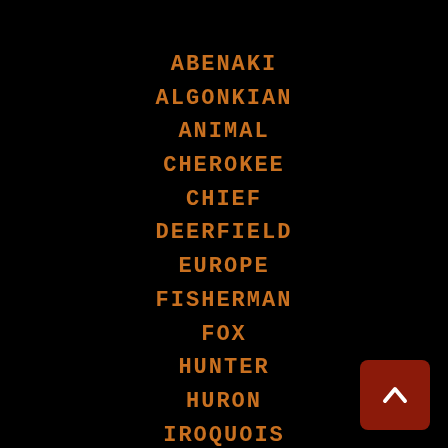ABENAKI
ALGONKIAN
ANIMAL
CHEROKEE
CHIEF
DEERFIELD
EUROPE
FISHERMAN
FOX
HUNTER
HURON
IROQUOIS
LACROSSE
MODEL
MOHAWK
MOHICAN
MONUMENT
[Figure (other): Dark red square button with a white upward-pointing arrow (back-to-top navigation button) in the bottom-right corner]